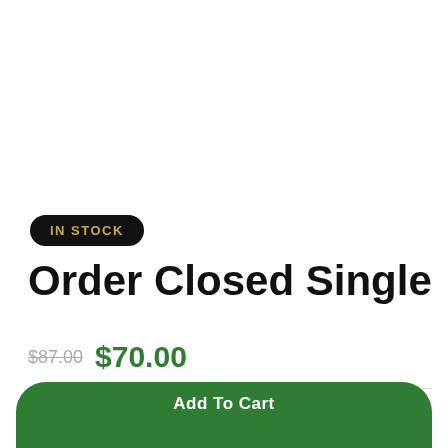IN STOCK
Order Closed Single
$87.00  $70.00
− 1 +
Add To Cart